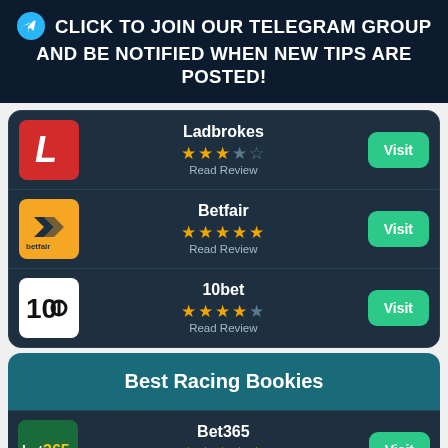CLICK TO JOIN OUR TELEGRAM GROUP AND BE NOTIFIED WHEN NEW TIPS ARE POSTED!
[Figure (infographic): Ladbrokes bookie row with logo, 3.5 star rating, Read Review link, and Visit button]
[Figure (infographic): Betfair bookie row with logo, 5 star rating, Read Review link, and Visit button]
[Figure (infographic): 10bet bookie row with logo, 4.5 star rating, Read Review link, and Visit button]
Best Racing Bookies
[Figure (infographic): Bet365 bookie row with logo, 5 star rating, Read Review link, and Visit button (partially visible)]